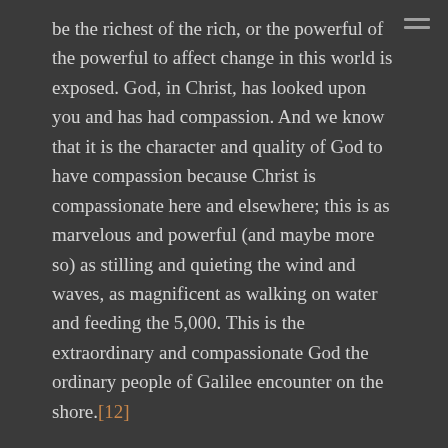be the richest of the rich, or the powerful of the powerful to affect change in this world is exposed. God, in Christ, has looked upon you and has had compassion. And we know that it is the character and quality of God to have compassion because Christ is compassionate here and elsewhere; this is as marvelous and powerful (and maybe more so) as stilling and quieting the wind and waves, as magnificent as walking on water and feeding the 5,000. This is the extraordinary and compassionate God the ordinary people of Galilee encounter on the shore.[12]
In this event-encounter with God everything changes by the paradoxical grace of God. The rejected becomes the beloved, the sick become the well, and the ordinary becomes the extraordinary.
A friend of mine wrote a very excellent book on the life and